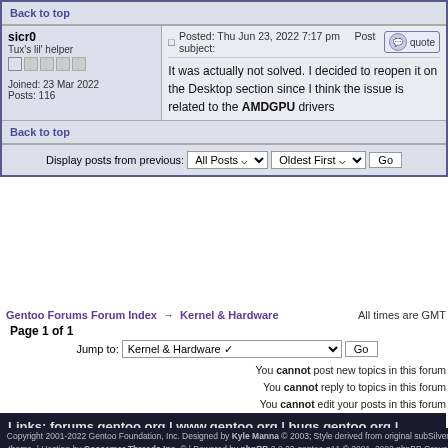Back to top
sicr0
Tux's lil' helper
Joined: 23 Mar 2022
Posts: 116
Posted: Thu Jun 23, 2022 7:17 pm    Post subject:
It was actually not solved. I decided to reopen it on the Desktop section since I think the issue is related to the AMDGPU drivers
Back to top
Display posts from previous: All Posts  Oldest First  Go
Gentoo Forums Forum Index → Kernel & Hardware    All times are GMT
Page 1 of 1
Jump to: Kernel & Hardware  Go
You cannot post new topics in this forum
You cannot reply to topics in this forum
You cannot edit your posts in this forum
You cannot delete your posts in this forum
You cannot vote in polls in this forum
Links: forums.gentoo.org | www.gentoo.org | bugs.gentoo.org | wiki.gentoo.org | forum-mods@gentoo.org
Copyright 2001-2022 Gentoo Foundation, Inc. Designed by Kyle Manna © 2003; Style derived from original subSilver theme. | Hosting by Gossamer Threads Inc. © | Powered by phpBB 2.0.23-gentoo-p11 © 2001, 2002 phpBB Group
Privacy Policy